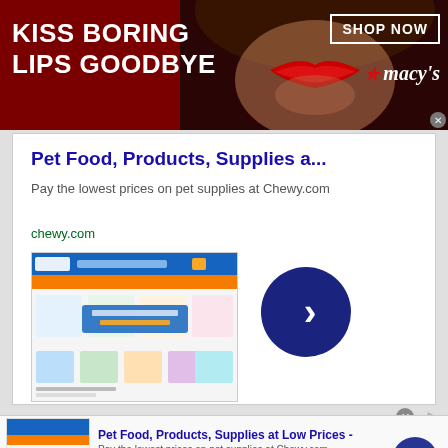[Figure (photo): Macy's banner advertisement with dark red background showing a woman's red lips in center, white text 'KISS BORING LIPS GOODBYE' on left, 'SHOP NOW' button and Macy's logo on right]
[Figure (screenshot): Chewy.com advertisement card with blue title 'Pet Food, Products, Supplies a...', description text, chewy.com URL in green, screenshot of Chewy website, and large dark blue arrow button]
[Figure (screenshot): Bottom strip Chewy.com ad with thumbnail, text 'Pet Food, Products, Supplies at Low Prices -', description, chewy.com URL, and dark blue arrow button]